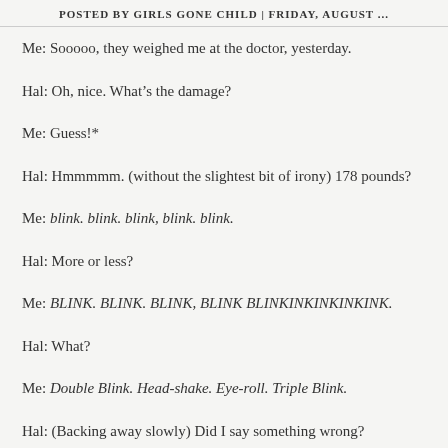POSTED BY GIRLS GONE CHILD | FRIDAY, AUGUST ...
Me: Sooooo, they weighed me at the doctor, yesterday.
Hal: Oh, nice. What's the damage?
Me: Guess!*
Hal: Hmmmmm. (without the slightest bit of irony) 178 pounds?
Me: blink. blink. blink, blink. blink.
Hal: More or less?
Me: BLINK. BLINK. BLINK, BLINK BLINKINKINKINKINK.
Hal: What?
Me: Double Blink. Head-shake. Eye-roll. Triple Blink.
Hal: (Backing away slowly) Did I say something wrong?